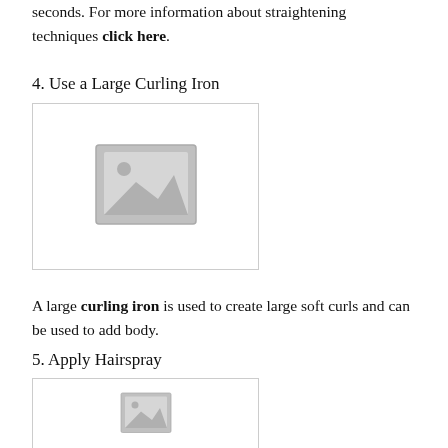seconds. For more information about straightening techniques click here.
4. Use a Large Curling Iron
[Figure (photo): Placeholder image for large curling iron]
A large curling iron is used to create large soft curls and can be used to add body.
5. Apply Hairspray
[Figure (photo): Placeholder image for hairspray]